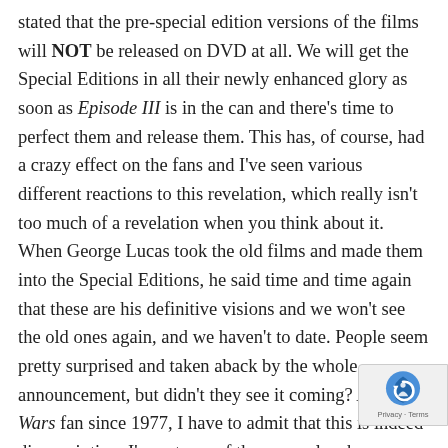stated that the pre-special edition versions of the films will NOT be released on DVD at all. We will get the Special Editions in all their newly enhanced glory as soon as Episode III is in the can and there's time to perfect them and release them. This has, of course, had a crazy effect on the fans and I've seen various different reactions to this revelation, which really isn't too much of a revelation when you think about it. When George Lucas took the old films and made them into the Special Editions, he said time and time again that these are his definitive visions and we won't see the old ones again, and we haven't to date. People seem pretty surprised and taken aback by the whole announcement, but didn't they see it coming? As a Star Wars fan since 1977, I have to admit that this is indeed disappointing. I'm not one of those people who go around banging the protest drum, boycotting the DVD, and asking for my raped childhood back. Perhaps no one at Lucasfilm understands or cares, but to me it's a big mistake.
[Figure (other): reCAPTCHA badge with logo and Privacy·Terms text]